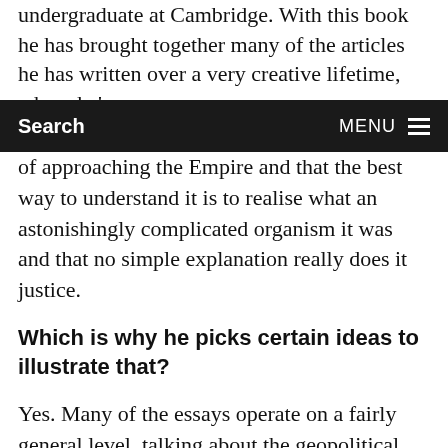undergraduate at Cambridge. With this book he has brought together many of the articles he has written over a very creative lifetime, where he's
Search   MENU
of approaching the Empire and that the best way to understand it is to realise what an astonishingly complicated organism it was and that no simple explanation really does it justice.
Which is why he picks certain ideas to illustrate that?
Yes. Many of the essays operate on a fairly general level, talking about the geopolitical, economic and in one case the sexual dynamics of the Empire. But Hyam is also concerned with specific figures as well. He has things to say about Churchill and the British Empire. He talks quite a lot about this largely forgotten man, John Bennett, who was a figure in the Colonial Office and was rather interesting